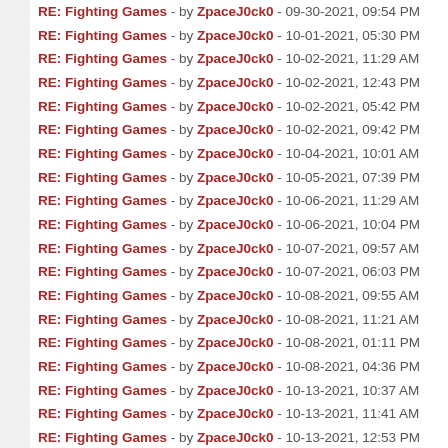RE: Fighting Games - by ZpaceJ0ck0 - 09-30-2021, 09:54 PM
RE: Fighting Games - by ZpaceJ0ck0 - 10-01-2021, 05:30 PM
RE: Fighting Games - by ZpaceJ0ck0 - 10-02-2021, 11:29 AM
RE: Fighting Games - by ZpaceJ0ck0 - 10-02-2021, 12:43 PM
RE: Fighting Games - by ZpaceJ0ck0 - 10-02-2021, 05:42 PM
RE: Fighting Games - by ZpaceJ0ck0 - 10-02-2021, 09:42 PM
RE: Fighting Games - by ZpaceJ0ck0 - 10-04-2021, 10:01 AM
RE: Fighting Games - by ZpaceJ0ck0 - 10-05-2021, 07:39 PM
RE: Fighting Games - by ZpaceJ0ck0 - 10-06-2021, 11:29 AM
RE: Fighting Games - by ZpaceJ0ck0 - 10-06-2021, 10:04 PM
RE: Fighting Games - by ZpaceJ0ck0 - 10-07-2021, 09:57 AM
RE: Fighting Games - by ZpaceJ0ck0 - 10-07-2021, 06:03 PM
RE: Fighting Games - by ZpaceJ0ck0 - 10-08-2021, 09:55 AM
RE: Fighting Games - by ZpaceJ0ck0 - 10-08-2021, 11:21 AM
RE: Fighting Games - by ZpaceJ0ck0 - 10-08-2021, 01:11 PM
RE: Fighting Games - by ZpaceJ0ck0 - 10-08-2021, 04:36 PM
RE: Fighting Games - by ZpaceJ0ck0 - 10-13-2021, 10:37 AM
RE: Fighting Games - by ZpaceJ0ck0 - 10-13-2021, 11:41 AM
RE: Fighting Games - by ZpaceJ0ck0 - 10-13-2021, 12:53 PM
RE: Fighting Games - by ZpaceJ0ck0 - 10-13-2021, 05:01 PM
RE: Fighting Games - by ZpaceJ0ck0 - 10-13-2021, 09:42 PM
RE: Fighting Games - by ZpaceJ0ck0 - 10-14-2021, 10:25 AM
RE: Fighting Games - by ZpaceJ0ck0 - 10-14-2021, 07:04 PM
RE: Fighting Games - by ZpaceJ0ck0 - 10-17-2021, 02:27 PM
RE: Fighting Games - by ZpaceJ0ck0 - 10-19-2021, 12:51 PM